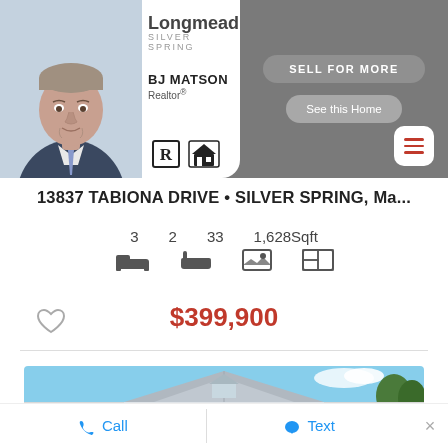[Figure (photo): Real estate agent BJ Matson headshot with Longmead Silver Spring branding on left portion, gray control panel with buttons on right]
13837 TABIONA DRIVE • SILVER SPRING, Ma...
3   2   33   1,628Sqft
$399,900
[Figure (photo): Exterior photo of house roofline against blue sky]
Call   Text   ×